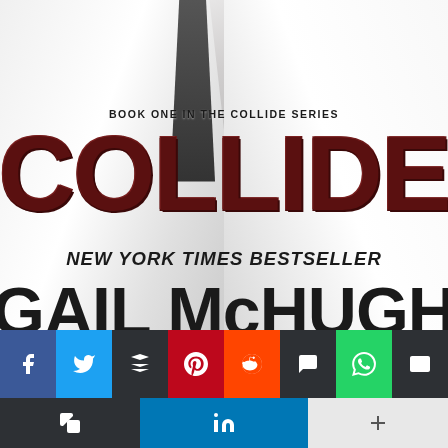[Figure (illustration): Book cover for 'Collide' by Gail McHugh — Book One in the Collide Series, New York Times Bestseller. Dark red large title text over a white shirt/figure background. Bottom shows social media share buttons: Facebook, Twitter, Buffer, Pinterest, Reddit, SMS, WhatsApp, Email (top row) and Copy, LinkedIn, More (bottom row).]